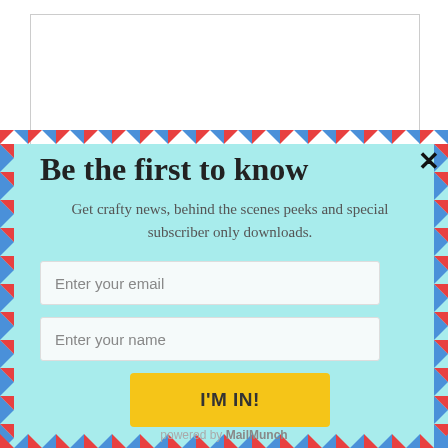Be the first to know
Get crafty news, behind the scenes peeks and special subscriber only downloads.
powered by MailMunch